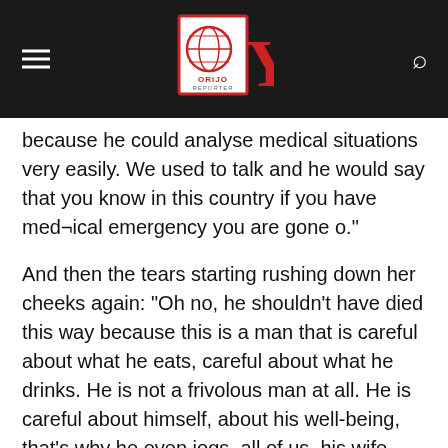Orijo Reporter
because he could analyse medical situations very easily. We used to talk and he would say that you know in this country if you have med¬ical emergency you are gone o.”
And then the tears starting rushing down her cheeks again: “Oh no, he shouldn’t have died this way because this is a man that is careful about what he eats, careful about what he drinks. He is not a frivolous man at all. He is careful about himself, about his well-being, that’s why he even jogs, all of us, his wife and me, he made us to jog.”
Time magazine edition of September 22, 2014, was right when it noted that, “in Nigeria, where road infrastructure can be poor, rural clinics are often unprepared to deal with major medical emergencies.” “He was martyred by the Nigerian system,”